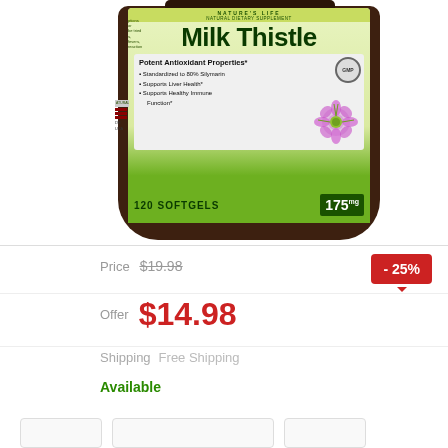[Figure (photo): Product photo of Milk Thistle Natural Dietary Supplement bottle showing label with 120 Softgels, 175mg, Potent Antioxidant Properties, GMP certified, standardized to 80% Silymarin, supports liver health, supports healthy immune function]
Price $19.98 - 25%
Offer $14.98
Shipping Free Shipping
Available